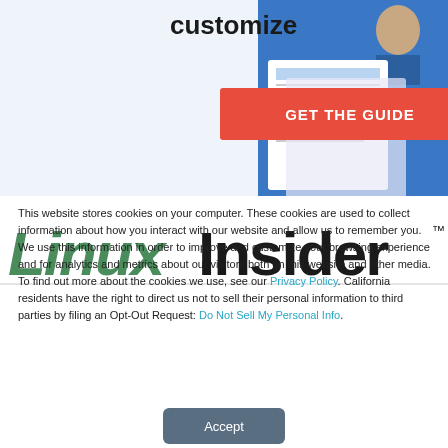[Figure (screenshot): Advertisement banner with light blue background showing 'customize' text in bold, a red 'GET THE GUIDE' button, and a document/notepad image on the right side with blue background]
[Figure (logo): LinuxInsider logo — 'Linux' in green italic stylized letters and 'Insider' in bold black letters with TM mark]
This website stores cookies on your computer. These cookies are used to collect information about how you interact with our website and allow us to remember you. We use this information in order to improve and customize your browsing experience and for analytics and metrics about our visitors both on this website and other media. To find out more about the cookies we use, see our Privacy Policy. California residents have the right to direct us not to sell their personal information to third parties by filing an Opt-Out Request: Do Not Sell My Personal Info.